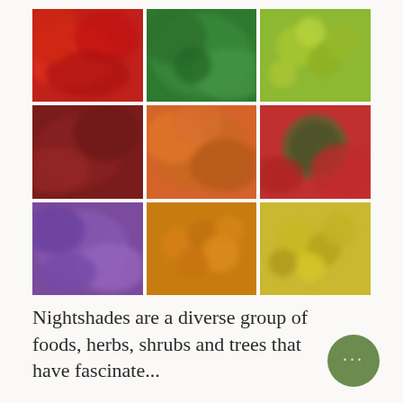[Figure (photo): A 3x3 grid of blurred, colorful close-up photos of nightshade plants and produce: red peppers (top-left), green herbs (top-center), green/yellow berries (top-right), dark red vegetables (middle-left), orange/yellow produce (middle-center), dark green round fruit with red background (middle-right), purple flowers (bottom-left), orange berries or tomatoes (bottom-center), yellow-green produce (bottom-right).]
Nightshades are a diverse group of foods, herbs, shrubs and trees that have fascinate...